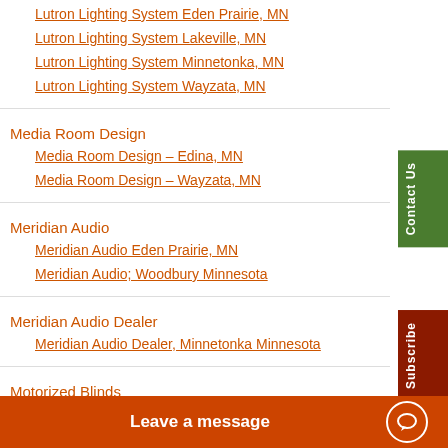Lutron Lighting System Eden Prairie, MN
Lutron Lighting System Lakeville, MN
Lutron Lighting System Minnetonka, MN
Lutron Lighting System Wayzata, MN
Media Room Design
Media Room Design – Edina, MN
Media Room Design – Wayzata, MN
Meridian Audio
Meridian Audio Eden Prairie, MN
Meridian Audio; Woodbury Minnesota
Meridian Audio Dealer
Meridian Audio Dealer, Minnetonka Minnesota
Motorized Blinds
Motorized Blinds – Lake Elmo, MN
Motorized Blinds – Minneapolis, MN
Motorized Shades
Leave a message